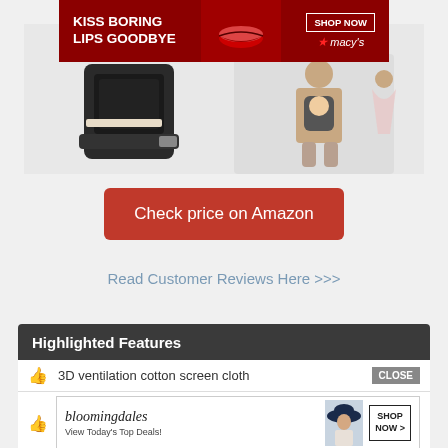[Figure (photo): Macy's advertisement banner: dark red background with text 'KISS BORING LIPS GOODBYE', a woman with red lips, and 'SHOP NOW' button with Macy's star logo]
[Figure (photo): Product image of a baby carrier/hip seat, shown from multiple angles with a person wearing it]
Check price on Amazon
Read Customer Reviews Here >>>
Highlighted Features
3D ventilation cotton screen cloth
[Figure (photo): Bloomingdales advertisement: logo, text 'View Today's Top Deals!', woman in hat, 'SHOP NOW >' button]